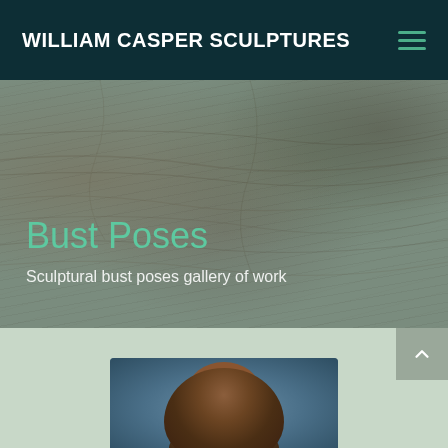WILLIAM CASPER SCULPTURES
Bust Poses
Sculptural bust poses gallery of work
[Figure (photo): Bronze sculpture bust viewed from above/behind, against a blue-grey background, displayed in the lower portion of the page]